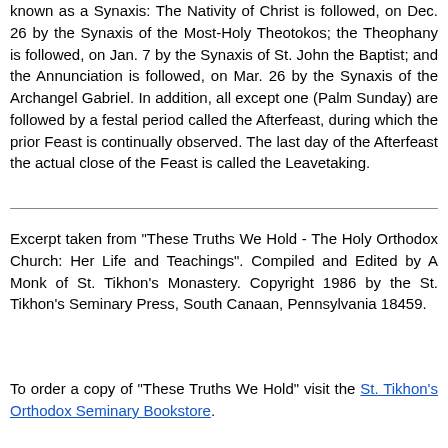known as a Synaxis: The Nativity of Christ is followed, on Dec. 26 by the Synaxis of the Most-Holy Theotokos; the Theophany is followed, on Jan. 7 by the Synaxis of St. John the Baptist; and the Annunciation is followed, on Mar. 26 by the Synaxis of the Archangel Gabriel. In addition, all except one (Palm Sunday) are followed by a festal period called the Afterfeast, during which the prior Feast is continually observed. The last day of the Afterfeast the actual close of the Feast is called the Leavetaking.
Excerpt taken from "These Truths We Hold - The Holy Orthodox Church: Her Life and Teachings". Compiled and Edited by A Monk of St. Tikhon's Monastery. Copyright 1986 by the St. Tikhon's Seminary Press, South Canaan, Pennsylvania 18459.
To order a copy of "These Truths We Hold" visit the St. Tikhon's Orthodox Seminary Bookstore.